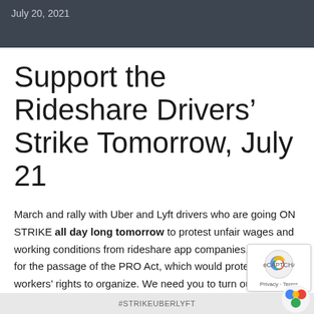July 20, 2021
Support the Rideshare Drivers’ Strike Tomorrow, July 21
March and rally with Uber and Lyft drivers who are going ON STRIKE all day long tomorrow to protest unfair wages and working conditions from rideshare app companies, and to call for the passage of the PRO Act, which would protect gig workers’ rights to organize. We need you to turn out and show that DSA SF stands with all workers, especially those in the highly precarious gig economy. Event details below:
#STRIKEUBERLYFT